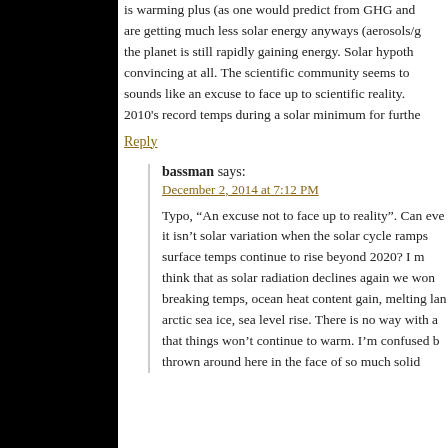is warming plus (as one would predict from GHG and... are getting much less solar energy anyways (aerosols/g... the planet is still rapidly gaining energy. Solar hypoth... convincing at all. The scientific community seems to... sounds like an excuse to face up to scientific reality. ... 2010's record temps during a solar minimum for furthe...
Reply
bassman says:
December 2, 2014 at 7:12 PM
Typo, “An excuse not to face up to reality”. Can eve... it isn’t solar variation when the solar cycle ramps... surface temps continue to rise beyond 2020? I m... think that as solar radiation declines again we won... breaking temps, ocean heat content gain, melting lan... arctic sea ice, sea level rise. There is no way with a... that things won’t continue to warm. I’m confused b... thrown around here in the face of so much solid...